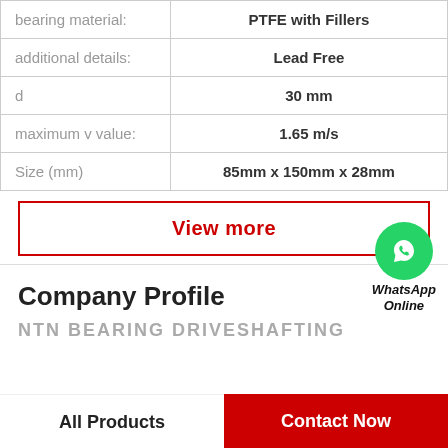| Property | Value |
| --- | --- |
| bearing material: | PTFE with Fillers |
| additional details: | Lead Free |
| d | 30 mm |
| maximum v value: | 1.65 m/s |
| Size (mm) | 85mm x 150mm x 28mm |
View more
Company Profile
NTN BEARING DRIVESHAFTING
All Products
Contact Now